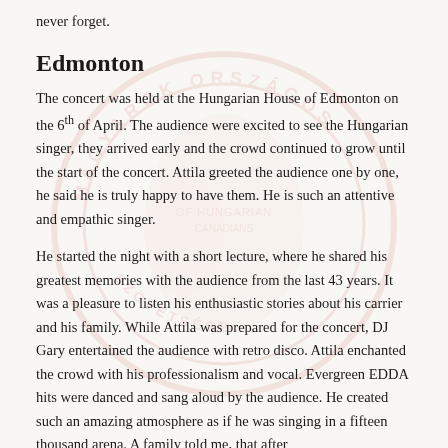never forget.
Edmonton
The concert was held at the Hungarian House of Edmonton on the 6th of April. The audience were excited to see the Hungarian singer, they arrived early and the crowd continued to grow until the start of the concert. Attila greeted the audience one by one, he said he is truly happy to have them. He is such an attentive and empathic singer.
He started the night with a short lecture, where he shared his greatest memories with the audience from the last 43 years. It was a pleasure to listen his enthusiastic stories about his carrier and his family. While Attila was prepared for the concert, DJ Gary entertained the audience with retro disco. Attila enchanted the crowd with his professionalism and vocal. Evergreen EDDA hits were danced and sang aloud by the audience. He created such an amazing atmosphere as if he was singing in a fifteen thousand arena. A family told me, that after